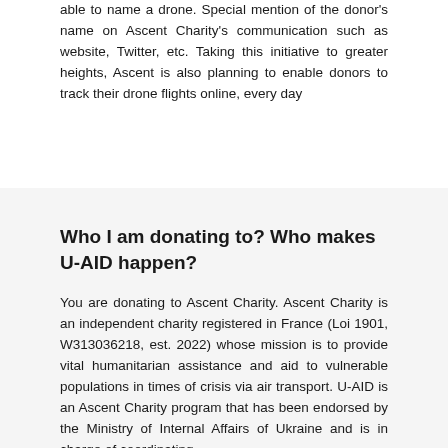able to name a drone. Special mention of the donor's name on Ascent Charity's communication such as website, Twitter, etc. Taking this initiative to greater heights, Ascent is also planning to enable donors to track their drone flights online, every day
Who I am donating to? Who makes U-AID happen?
You are donating to Ascent Charity. Ascent Charity is an independent charity registered in France (Loi 1901, W313036218, est. 2022) whose mission is to provide vital humanitarian assistance and aid to vulnerable populations in times of crisis via air transport. U-AID is an Ascent Charity program that has been endorsed by the Ministry of Internal Affairs of Ukraine and is in charge of coordinating